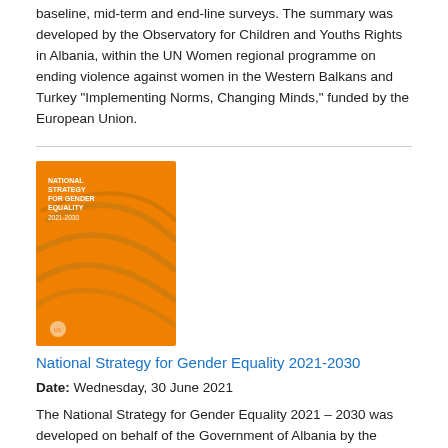baseline, mid-term and end-line surveys. The summary was developed by the Observatory for Children and Youths Rights in Albania, within the UN Women regional programme on ending violence against women in the Western Balkans and Turkey "Implementing Norms, Changing Minds," funded by the European Union.
[Figure (photo): Book cover of National Strategy for Gender Equality 2021-2030, orange cover with curved line design]
National Strategy for Gender Equality 2021-2030
Date: Wednesday, 30 June 2021
The National Strategy for Gender Equality 2021 – 2030 was developed on behalf of the Government of Albania by the Ministry of Health and Social Protection, in coordination and consultation with other responsible ministries, local self-governance units, independent institutions, civil society organizations, academia, as well as international organizations that work towards gender equality and ending gender-based violence and domestic violence in Albania.